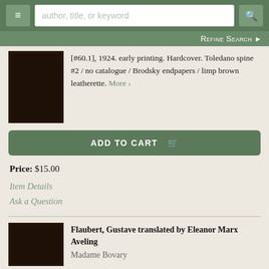author, title, or keyword [search bar] [menu] [search button] REFINE SEARCH
[#60.1], 1924. early printing. Hardcover. Toledano spine #2 / no catalogue / Brodsky endpapers / limp brown leatherette. More >
ADD TO CART
Price: $15.00
Item Details
Ask a Question
Flaubert, Gustave translated by Eleanor Marx Aveling
Madame Bovary